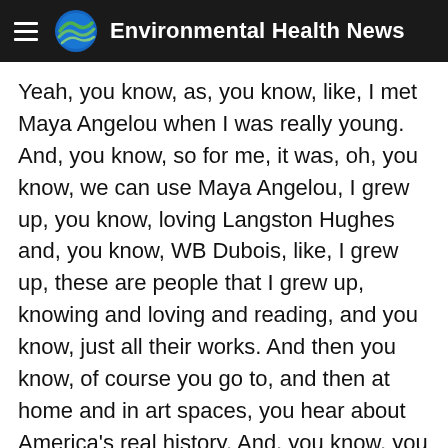Environmental Health News
Yeah, you know, as, you know, like, I met Maya Angelou when I was really young. And, you know, so for me, it was, oh, you know, we can use Maya Angelou, I grew up, you know, loving Langston Hughes and, you know, WB Dubois, like, I grew up, these are people that I grew up, knowing and loving and reading, and you know, just all their works. And then you know, of course you go to, and then at home and in art spaces, you hear about America's real history. And, you know, you know, at school, they're like, oh, you know, Christopher Columbus sailed the ocean blue, and he's amazing. And I don't really, I'm like, no, he's like, a very bad person, in the polite way, he was a